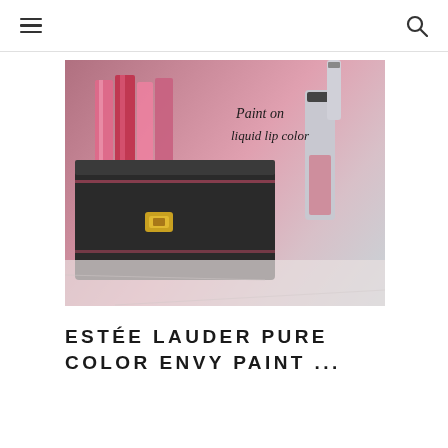[navigation header with menu and search icons]
[Figure (photo): Estée Lauder Pure Color Envy Paint - liquid lip color products displayed in a black makeup case with gold clasps on a marble surface, with text 'Paint on liquid lip color' in cursive script overlay]
ESTÉE LAUDER PURE COLOR ENVY PAINT ...